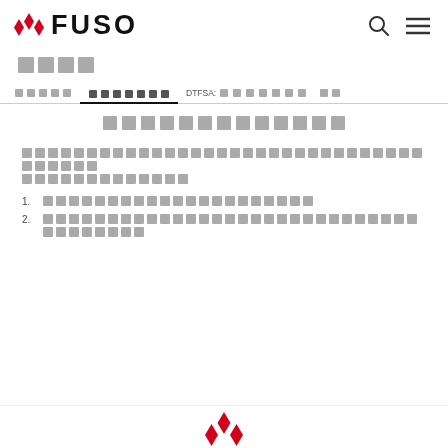FUSO logo and navigation icons
[Thai navigation: search, active tab underlined, DTFSA: tab, and more]
[Thai section title — center aligned]
[Thai paragraph text spanning two lines]
1. [Thai list item text]
2. [Thai list item text — longer]
Mitsubishi/FUSO logo at bottom center